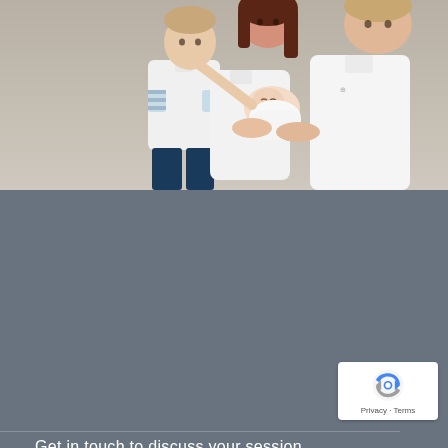[Figure (photo): Family photo showing a young boy in white shirt kissing a newborn baby being held by a woman and a man, both in white tops, against a beige/taupe studio background.]
Get in touch to discuss your session
www.michellesinclairphotography.co.uk
[Figure (logo): Google reCAPTCHA logo badge with recycling-arrow icon and 'Privacy - Terms' text below.]